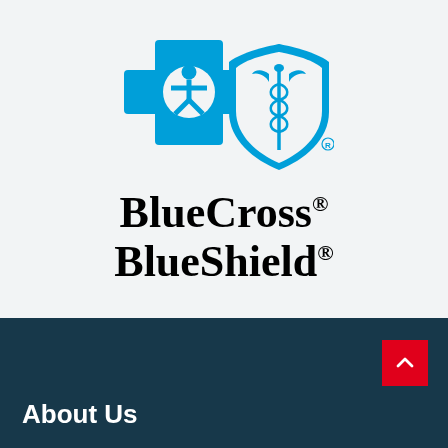[Figure (logo): Blue Cross Blue Shield logo: blue cross symbol with circular human figure on left, blue shield with caduceus on right, registered trademarks on both. Below: 'BlueCross® BlueShield®' in bold serif black text.]
About Us